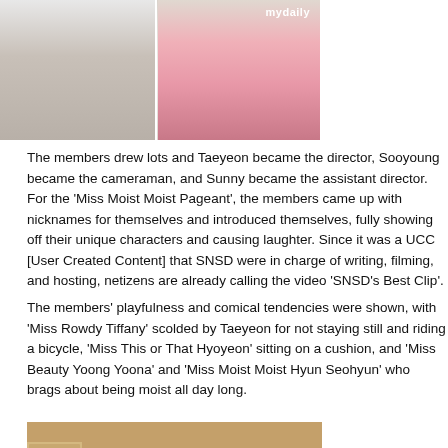[Figure (photo): Two photos side by side: left shows person in white outfit in a room, right shows colorful clothing/accessories. Watermark 'mydaily' visible.]
The members drew lots and Taeyeon became the director, Sooyoung became the cameraman, and Sunny became the assistant director. For the 'Miss Moist Moist Pageant', the members came up with nicknames for themselves and introduced themselves, fully showing off their unique characters and causing laughter. Since it was a UCC [User Created Content] that SNSD was in charge of writing, filming, and hosting, netizens are already calling the video 'SNSD's Best Clip'.
The members' playfulness and comical tendencies were shown, with 'Miss Rowdy Tiffany' scolded by Taeyeon for not staying still and riding a bicycle, 'Miss This or That Hyoyeon' sitting on a cushion, and 'Miss Beauty Yoong Yoona' and 'Miss Moist Moist Hyun Seohyun' who brags about being moist all day long.
[Figure (photo): Group of young women indoors; one standing in red shirt holding a microphone, others seated watching her. Wooden wall background.]